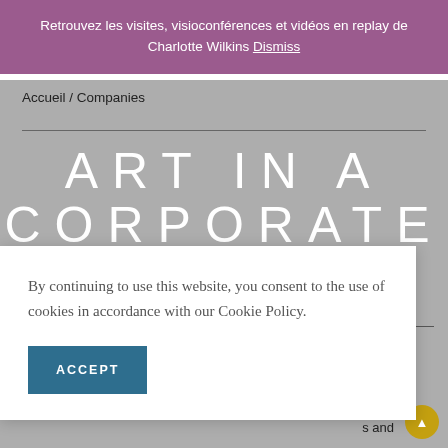Retrouvez les visites, visioconférences et vidéos en replay de Charlotte Wilkins Dismiss
Accueil / Companies
ART IN A CORPORATE
By continuing to use this website, you consent to the use of cookies in accordance with our Cookie Policy.
ACCEPT
s and